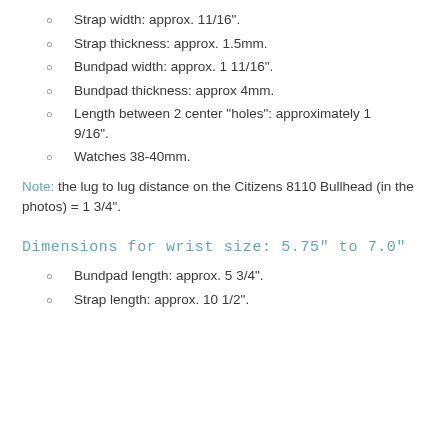Strap width: approx. 11/16".
Strap thickness: approx. 1.5mm.
Bundpad width: approx. 1 11/16".
Bundpad thickness: approx 4mm.
Length between 2 center "holes": approximately 1 9/16".
Watches 38-40mm.
Note: the lug to lug distance on the Citizens 8110 Bullhead (in the photos) = 1 3/4".
Dimensions for wrist size: 5.75" to 7.0"
Bundpad length: approx. 5 3/4".
Strap length: approx. 10 1/2".